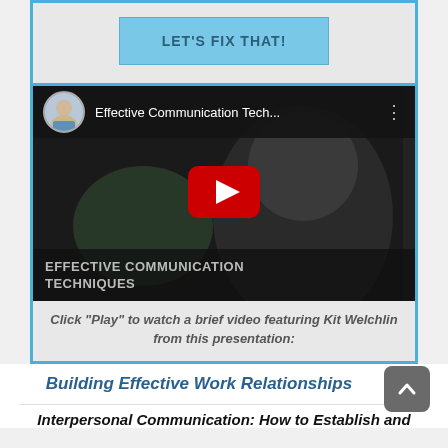LET'S FIX THAT!
[Figure (screenshot): YouTube video thumbnail for 'Effective Communication Techniques' featuring Kit Welchlin, with a red play button in the center and video title text overlay at bottom.]
Click "Play" to watch a brief video featuring Kit Welchlin from this presentation:
Building Effective Work Relationships
Interpersonal Communication: How to Establish and